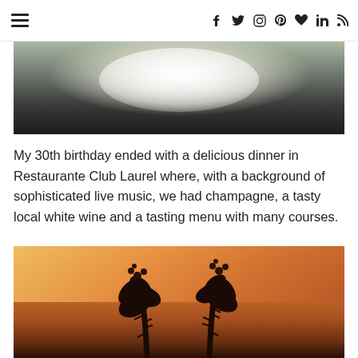≡ f t instagram pinterest ♥ in rss
[Figure (photo): Close-up photo of a white plate with food (appears to be fried items with green garnish) on a dark background]
My 30th birthday ended with a delicious dinner in Restaurante Club Laurel where, with a background of sophisticated live music, we had champagne, a tasty local white wine and a tasting menu with many courses.
[Figure (photo): Silhouette of tropical plants with flowers against a warm orange sunset sky]